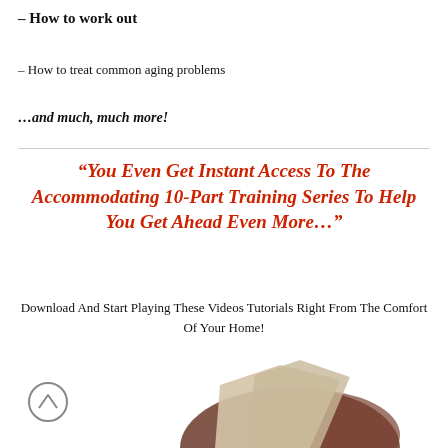– How to work out
– How to treat common aging problems
…and much, much more!
“You Even Get Instant Access To The Accommodating 10-Part Training Series To Help You Get Ahead Even More…”
Download And Start Playing These Videos Tutorials Right From The Comfort Of Your Home!
[Figure (photo): Partial photo of a person with dark hair visible at bottom of page, with a scroll-to-top button on the left]